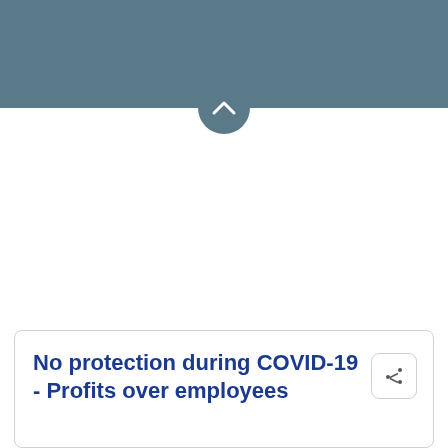[Figure (screenshot): Dark teal/steel blue header bar spanning full width at top of page, with a circular button containing a chevron/up-arrow symbol at the bottom center of the bar]
No protection during COVID-19 - Profits over employees